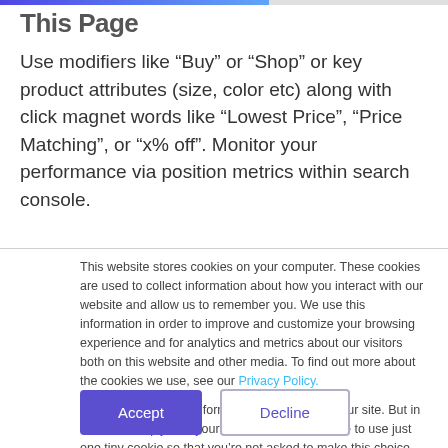This Page
Use modifiers like “Buy” or “Shop” or key product attributes (size, color etc) along with click magnet words like “Lowest Price”, “Price Matching”, or “x% off”. Monitor your performance via position metrics within search console.
This website stores cookies on your computer. These cookies are used to collect information about how you interact with our website and allow us to remember you. We use this information in order to improve and customize your browsing experience and for analytics and metrics about our visitors both on this website and other media. To find out more about the cookies we use, see our Privacy Policy.

We won’t track your information when you visit our site. But in order to comply with your preferences, we’ll have to use just one tiny cookie so that you’re not asked to make this choice again.
Accept
Decline